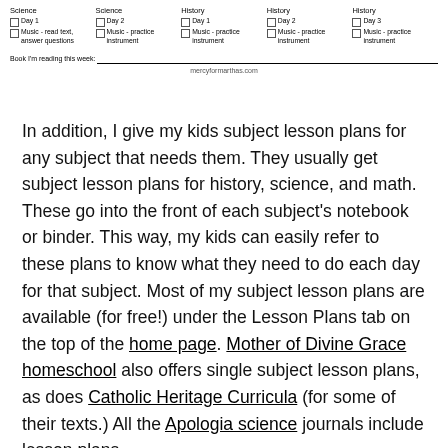[Figure (other): Partial weekly schedule form with columns for Science Day 1, Science Day 2, History Day 1, History Day 2, History Day 3, each with checkboxes for days and Music practice instrument items, followed by a 'Book I'm reading this week' fill-in line and mercyformarthas.com website credit.]
In addition, I give my kids subject lesson plans for any subject that needs them. They usually get subject lesson plans for history, science, and math. These go into the front of each subject's notebook or binder. This way, my kids can easily refer to these plans to know what they need to do each day for that subject. Most of my subject lesson plans are available (for free!) under the Lesson Plans tab on the top of the home page. Mother of Divine Grace homeschool also offers single subject lesson plans, as does Catholic Heritage Curricula (for some of their texts.) All the Apologia science journals include lesson plans.
As an example, here's the first page of our fourth grade